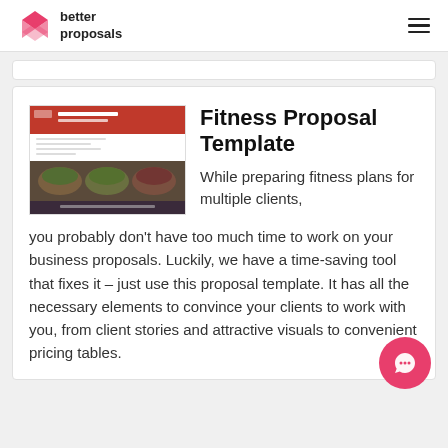better proposals
[Figure (screenshot): Thumbnail preview of a fitness proposal template document showing a red header and food containers image]
Fitness Proposal Template
While preparing fitness plans for multiple clients, you probably don't have too much time to work on your business proposals. Luckily, we have a time-saving tool that fixes it – just use this proposal template. It has all the necessary elements to convince your clients to work with you, from client stories and attractive visuals to convenient pricing tables.